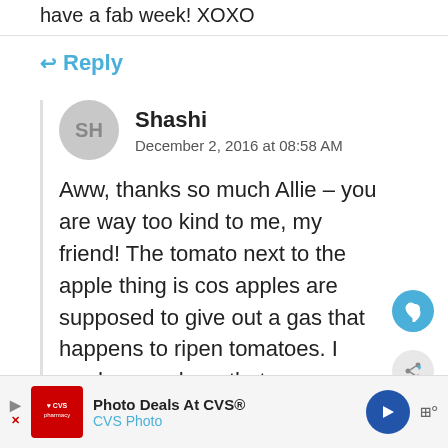have a fab week! XOXO
↩ Reply
Shashi
December 2, 2016 at 08:58 AM
Aww, thanks so much Allie – you are way too kind to me, my friend! The tomato next to the apple thing is cos apples are supposed to give out a gas that happens to ripen tomatoes. I read somewhere that
[Figure (infographic): WHAT'S NEXT banner with Lentil Stuffed Buns image]
Photo Deals At CVS® CVS Photo